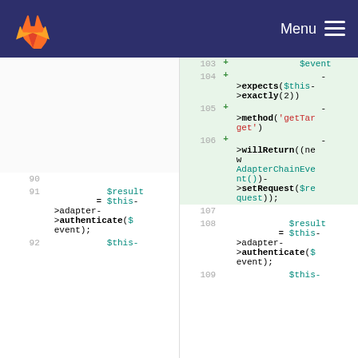GitLab Menu
[Figure (screenshot): Code diff view showing PHP code changes. Left pane shows old line numbers 90-92, right pane shows new line numbers 103-109. Added lines (highlighted green) include ->expects($this->exactly(2)), ->method('getTarget'), ->willReturn((new AdapterChainEvent())->setRequest($request));. Both sides show $result = $this->adapter->authenticate($event); code.]